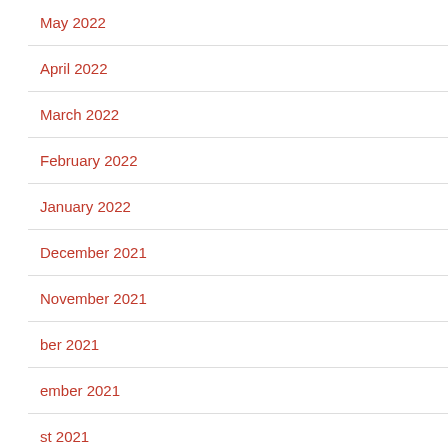May 2022
April 2022
March 2022
February 2022
January 2022
December 2021
November 2021
October 2021
September 2021
August 2021
June 2021
May 2021
April 2021
[Figure (infographic): Social media share buttons: Facebook (blue circle with f), Google+ (red circle with g+), Twitter (blue circle with bird), Add/Subscribe (dark circle with +)]